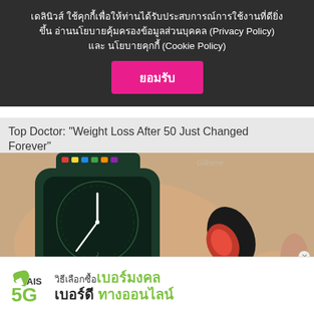เดลินิวส์ ใช้คุกกี้เพื่อให้ท่านได้รับประสบการณ์การใช้งานที่ดียิ่งขึ้น อ่านนโยบายคุ้มครองข้อมูลส่วนบุคคล (Privacy Policy) และ นโยบายคุกกี้ (Cookie Policy)
ยอมรับ
Top Doctor: "Weight Loss After 50 Just Changed Forever"
Dr. Kellyann | Sponsored
[Figure (photo): Close-up photo of a smartwatch on a wrist with a small red electronic device nearby]
[Figure (logo): AIS 5G advertisement banner: วิธีเลือกซื้อเบอร์มงคล เบอร์ดี ทางออนไลน์]